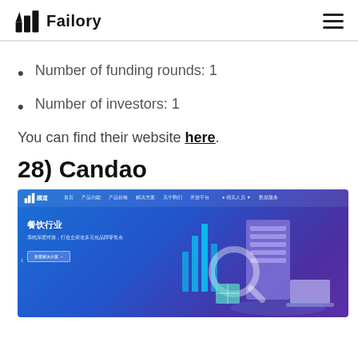Failory
Number of funding rounds: 1
Number of investors: 1
You can find their website here.
28) Candao
[Figure (screenshot): Screenshot of the Candao website showing a Chinese-language interface with a blue gradient background, navigation menu, '餐饮行业' (Restaurant Industry) heading, subtitle text, a call-to-action button, and isometric 3D illustrations of technology/server equipment on the right side.]